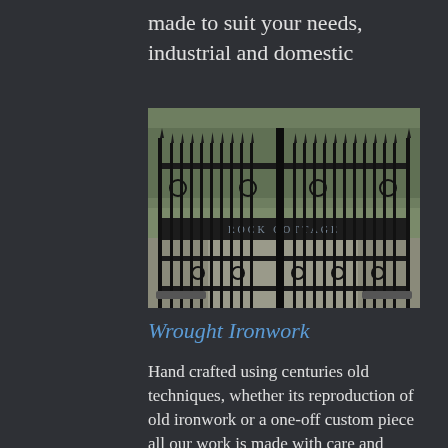made to suit your needs, industrial and domestic
[Figure (photo): Black wrought iron gate with decorative scrollwork and spear-top railings, with a sign reading 'ROCK COTTAGE' across the centre bar. Trees and a driveway are visible behind the gate.]
Wrought Ironwork
Hand crafted using centuries old techniques, whether its reproduction of old ironwork or a one-off custom piece all our work is made with care and attention to detail rarely found nowadays.